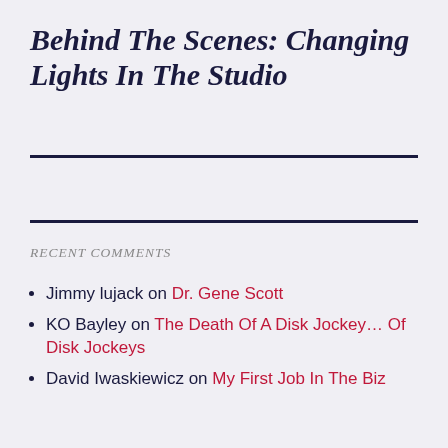Behind The Scenes: Changing Lights In The Studio
RECENT COMMENTS
Jimmy lujack on Dr. Gene Scott
KO Bayley on The Death Of A Disk Jockey... Of Disk Jockeys
David Iwaskiewicz on My First Job In The Biz